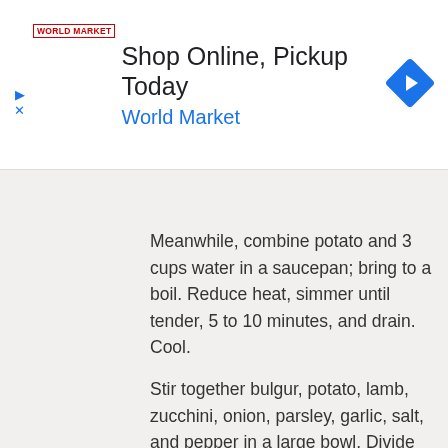[Figure (other): Advertisement banner for World Market with logo, text 'Shop Online, Pickup Today', 'World Market', and a blue diamond navigation arrow icon]
Meanwhile, combine potato and 3 cups water in a saucepan; bring to a boil. Reduce heat, simmer until tender, 5 to 10 minutes, and drain. Cool.
Stir together bulgur, potato, lamb, zucchini, onion, parsley, garlic, salt, and pepper in a large bowl. Divide mixture into 5 equal portions and shape into 1/2-inch-thick patties.
Place a large nonstick skillet coated with cooking spray over medium-high heat until hot. Cook patties 4 minutes on each side. Place patties on bottom halves of buns; cover each with